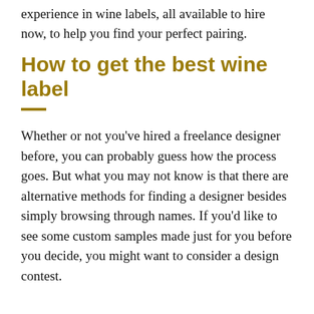experience in wine labels, all available to hire now, to help you find your perfect pairing.
How to get the best wine label
Whether or not you’ve hired a freelance designer before, you can probably guess how the process goes. But what you may not know is that there are alternative methods for finding a designer besides simply browsing through names. If you’d like to see some custom samples made just for you before you decide, you might want to consider a design contest.